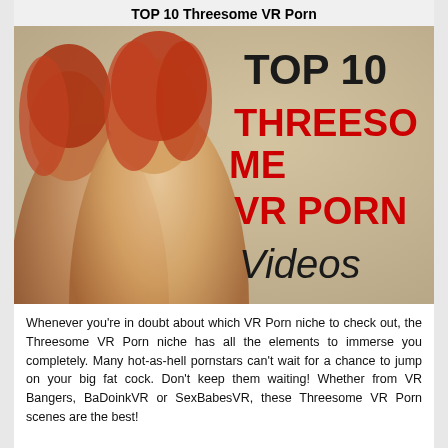TOP 10 Threesome VR Porn
[Figure (illustration): Promotional image for Top 10 Threesome VR Porn Videos, showing two red-haired women on a beige background with large text overlay reading TOP 10 THREESOME VR PORN Videos]
Whenever you’re in doubt about which VR Porn niche to check out, the Threesome VR Porn niche has all the elements to immerse you completely. Many hot-as-hell pornstars can't wait for a chance to jump on your big fat cock. Don’t keep them waiting! Whether from VR Bangers, BaDoinkVR or SexBabesVR, these Threesome VR Porn scenes are the best!